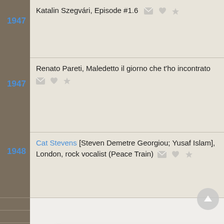1947 — Katalin Szegvári, Episode #1.6
1947 — Renato Pareti, Maledetto il giorno che t'ho incontrato
1948 — Cat Stevens [Steven Demetre Georgiou; Yusaf Islam], London, rock vocalist (Peace Train)
We use cookies to understand how you use our site and to improve your experience. This includes personalizing content for you and for the display and tracking of advertising. By continuing to use our site, you accept and agree to our use of cookies. Privacy Policy
Got it!